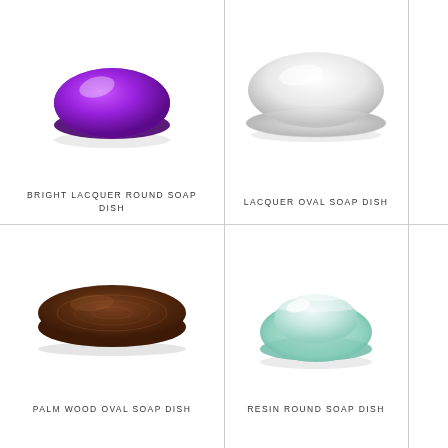[Figure (illustration): Purple glossy round soap dish bowl]
BRIGHT LACQUER ROUND SOAP DISH
[Figure (illustration): White/silver glossy oval soap dish]
LACQUER OVAL SOAP DISH
[Figure (illustration): Dark brown palm wood oval soap dish]
PALM WOOD OVAL SOAP DISH
[Figure (illustration): Mint green glass resin round soap dish bowl]
RESIN ROUND SOAP DISH